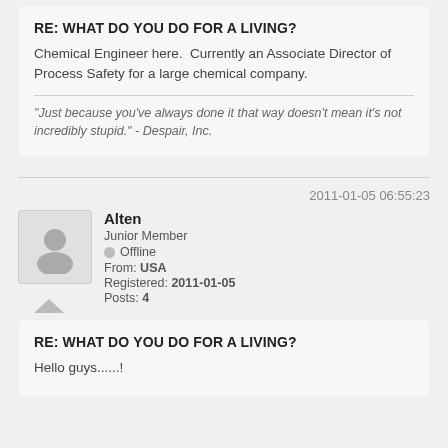RE: WHAT DO YOU DO FOR A LIVING?
Chemical Engineer here.  Currently an Associate Director of Process Safety for a large chemical company.
"Just because you've always done it that way doesn't mean it's not incredibly stupid." - Despair, Inc.
2011-01-05 06:55:23
Alten
Junior Member
Offline
From: USA
Registered: 2011-01-05
Posts: 4
RE: WHAT DO YOU DO FOR A LIVING?
Hello guys......!